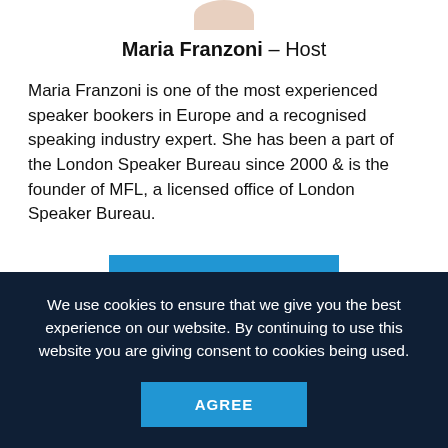[Figure (photo): Partial photo of Maria Franzoni, cropped at top of page]
Maria Franzoni – Host
Maria Franzoni is one of the most experienced speaker bookers in Europe and a recognised speaking industry expert. She has been a part of the London Speaker Bureau since 2000 & is the founder of MFL, a licensed office of London Speaker Bureau.
VIEW PROFILE
We use cookies to ensure that we give you the best experience on our website. By continuing to use this website you are giving consent to cookies being used.
AGREE